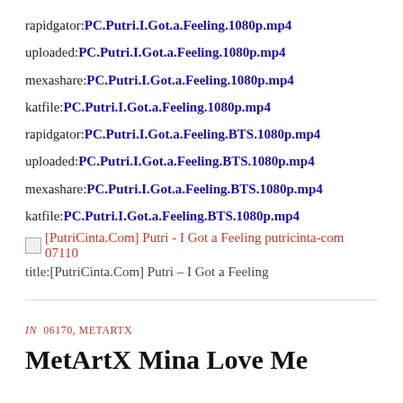rapidgator:PC.Putri.I.Got.a.Feeling.1080p.mp4
uploaded:PC.Putri.I.Got.a.Feeling.1080p.mp4
mexashare:PC.Putri.I.Got.a.Feeling.1080p.mp4
katfile:PC.Putri.I.Got.a.Feeling.1080p.mp4
rapidgator:PC.Putri.I.Got.a.Feeling.BTS.1080p.mp4
uploaded:PC.Putri.I.Got.a.Feeling.BTS.1080p.mp4
mexashare:PC.Putri.I.Got.a.Feeling.BTS.1080p.mp4
katfile:PC.Putri.I.Got.a.Feeling.BTS.1080p.mp4
[Figure (photo): Thumbnail image placeholder for [PutriCinta.Com] Putri - I Got a Feeling putricinta-com 07110]
[PutriCinta.Com] Putri - I Got a Feeling putricinta-com 07110
title:[PutriCinta.Com] Putri – I Got a Feeling
In 06170, METARTX
MetArtX Mina Love Me